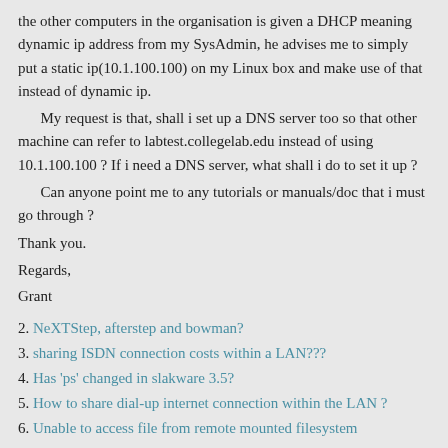the other computers in the organisation is given a DHCP meaning dynamic ip address from my SysAdmin, he advises me to simply put a static ip(10.1.100.100) on my Linux box and make use of that instead of dynamic ip.
My request is that, shall i set up a DNS server too so that other machine can refer to labtest.collegelab.edu instead of using 10.1.100.100 ? If i need a DNS server, what shall i do to set it up ?
Can anyone point me to any tutorials or manuals/doc that i must go through ?
Thank you.
Regards,
Grant
2. NeXTStep, afterstep and bowman?
3. sharing ISDN connection costs within a LAN???
4. Has 'ps' changed in slakware 3.5?
5. How to share dial-up internet connection within the LAN ?
6. Unable to access file from remote mounted filesystem
7. How to share 56k dial-up internet connection within the LAN ?
8. storeonline
9. can i setup a nameserver within a LAN??
10. redirecting all port 80 requests on internal lan to squid proxy on external lan